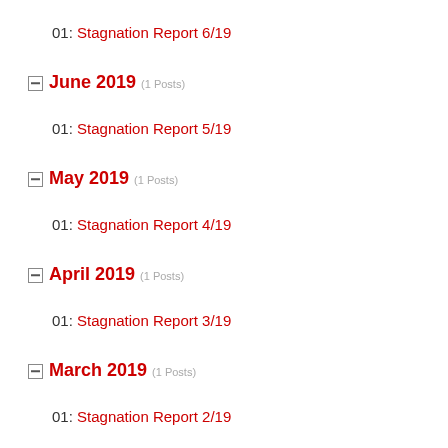01: Stagnation Report 6/19
June 2019 (1 Posts)
01: Stagnation Report 5/19
May 2019 (1 Posts)
01: Stagnation Report 4/19
April 2019 (1 Posts)
01: Stagnation Report 3/19
March 2019 (1 Posts)
01: Stagnation Report 2/19